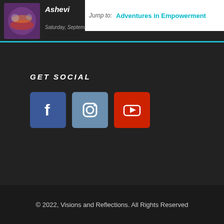Jump to: Adventures in Empowerment
Ashevi... Saturday, September 03, 2022
GET SOCIAL
[Figure (logo): Social media icons: Facebook (blue), Instagram (steel blue), YouTube (red)]
© 2022, Visions and Reflections. All Rights Reserved